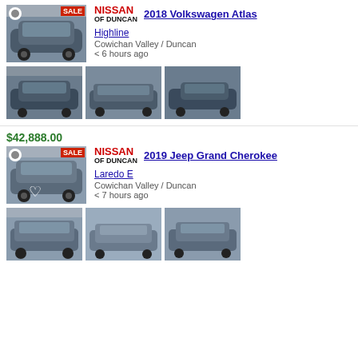[Figure (photo): Main thumbnail of 2018 Volkswagen Atlas (gray SUV, front view)]
NISSAN OF DUNCAN
2018 Volkswagen Atlas
Highline
Cowichan Valley / Duncan
< 6 hours ago
[Figure (photo): 2018 VW Atlas front view thumbnail]
[Figure (photo): 2018 VW Atlas side front thumbnail]
[Figure (photo): 2018 VW Atlas side rear thumbnail]
$42,888.00
[Figure (photo): Main thumbnail of 2019 Jeep Grand Cherokee (gray SUV, front view)]
NISSAN OF DUNCAN
2019 Jeep Grand Cherokee
Laredo E
Cowichan Valley / Duncan
< 7 hours ago
[Figure (photo): 2019 Jeep Grand Cherokee front view thumbnail]
[Figure (photo): 2019 Jeep Grand Cherokee front angle thumbnail]
[Figure (photo): 2019 Jeep Grand Cherokee side view thumbnail]